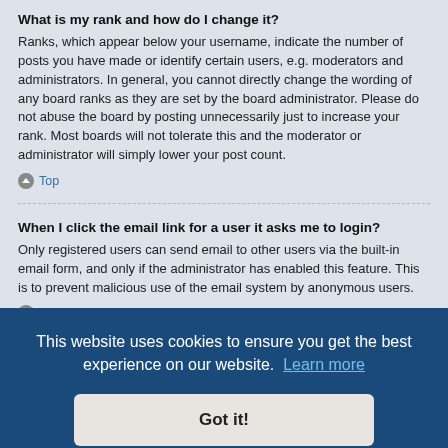What is my rank and how do I change it?
Ranks, which appear below your username, indicate the number of posts you have made or identify certain users, e.g. moderators and administrators. In general, you cannot directly change the wording of any board ranks as they are set by the board administrator. Please do not abuse the board by posting unnecessarily just to increase your rank. Most boards will not tolerate this and the moderator or administrator will simply lower your post count.
Top
When I click the email link for a user it asks me to login?
Only registered users can send email to other users via the built-in email form, and only if the administrator has enabled this feature. This is to prevent malicious use of the email system by anonymous users.
Top
This website uses cookies to ensure you get the best experience on our website.  Learn more
Got it!
opic, click  A list of and topic etc.
Top